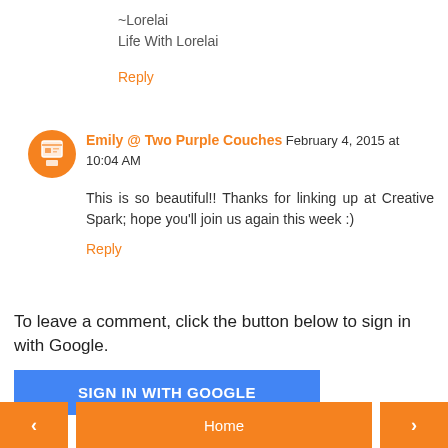~Lorelai
Life With Lorelai
Reply
Emily @ Two Purple Couches February 4, 2015 at 10:04 AM
This is so beautiful!! Thanks for linking up at Creative Spark; hope you'll join us again this week :)
Reply
To leave a comment, click the button below to sign in with Google.
SIGN IN WITH GOOGLE
Home